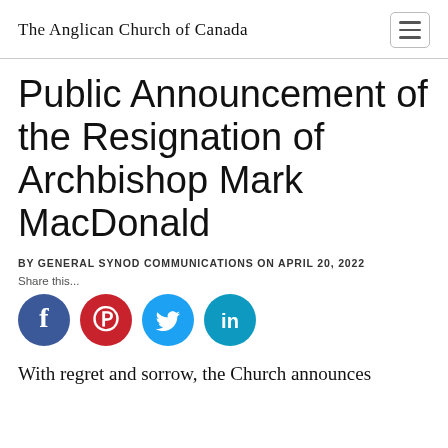The Anglican Church of Canada
Public Announcement of the Resignation of Archbishop Mark MacDonald
BY GENERAL SYNOD COMMUNICATIONS ON APRIL 20, 2022
Share this...
[Figure (infographic): Four social media share buttons: Facebook (blue circle with 'f'), Pinterest (red circle with 'P' logo), Twitter (teal circle with bird logo), LinkedIn (teal circle with 'in')]
With regret and sorrow, the Church announces